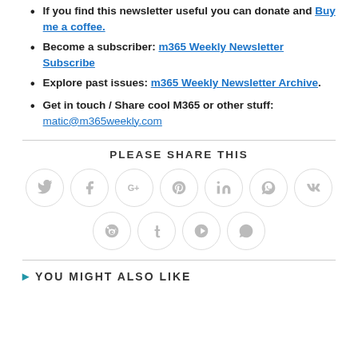If you find this newsletter useful you can donate and Buy me a coffee.
Become a subscriber: m365 Weekly Newsletter Subscribe
Explore past issues: m365 Weekly Newsletter Archive.
Get in touch / Share cool M365 or other stuff: matic@m365weekly.com
[Figure (infographic): PLEASE SHARE THIS section with social media icon buttons: Twitter, Facebook, Google+, Pinterest, LinkedIn, Viber, VK (top row), Reddit, Tumblr, Delicious, WhatsApp (bottom row)]
YOU MIGHT ALSO LIKE